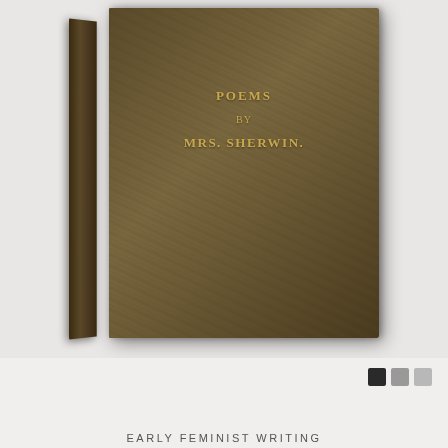[Figure (photo): Photograph of an antique book with dark olive-brown cloth cover. The cover shows gilt lettering reading 'POEMS BY MRS. SHERWIN.' The book is positioned at a slight angle showing the spine on the left side. Background is light grey.]
EARLY FEMINIST WRITING